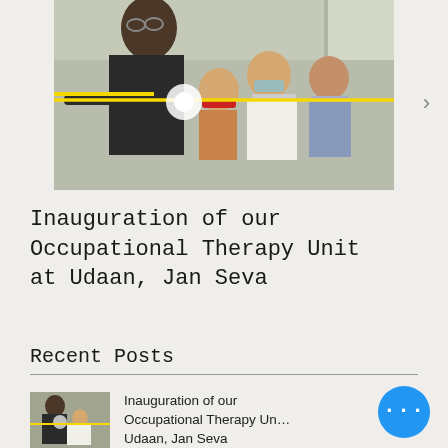[Figure (photo): People wearing masks cutting a ribbon at an inauguration ceremony. A man in a black shirt with glasses is cutting a yellow ribbon. A child in a red mask and a woman in a white suit with mask are visible behind him.]
Inauguration of our Occupational Therapy Unit at Udaan, Jan Seva
Recent Posts
[Figure (photo): Small thumbnail of the same inauguration photo showing people cutting a ribbon.]
Inauguration of our Occupational Therapy Unit at Udaan, Jan Seva